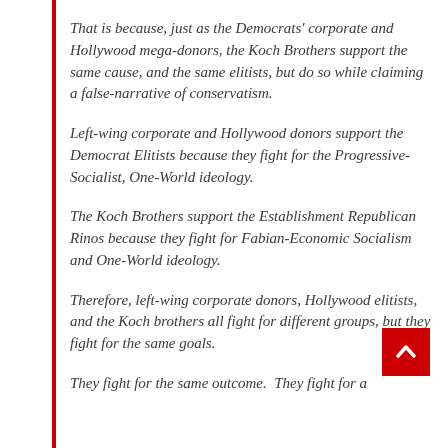That is because, just as the Democrats' corporate and Hollywood mega-donors, the Koch Brothers support the same cause, and the same elitists, but do so while claiming a false-narrative of conservatism.
Left-wing corporate and Hollywood donors support the Democrat Elitists because they fight for the Progressive-Socialist, One-World ideology.
The Koch Brothers support the Establishment Republican Rinos because they fight for Fabian-Economic Socialism and One-World ideology.
Therefore, left-wing corporate donors, Hollywood elitists, and the Koch brothers all fight for different groups, but they fight for the same goals.
They fight for the same outcome.  They fight for a socialist, one-world, One-World government.